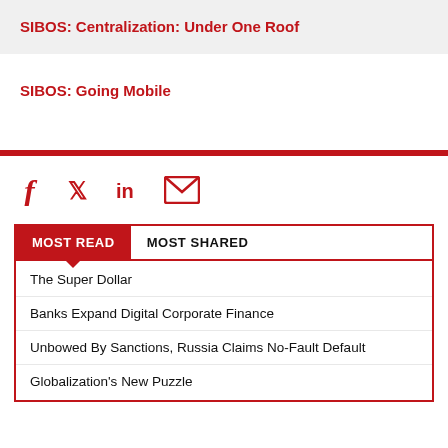SIBOS: Centralization: Under One Roof
SIBOS: Going Mobile
[Figure (other): Social media icons: Facebook, Twitter, LinkedIn, Email]
MOST READ | MOST SHARED
The Super Dollar
Banks Expand Digital Corporate Finance
Unbowed By Sanctions, Russia Claims No-Fault Default
Globalization's New Puzzle